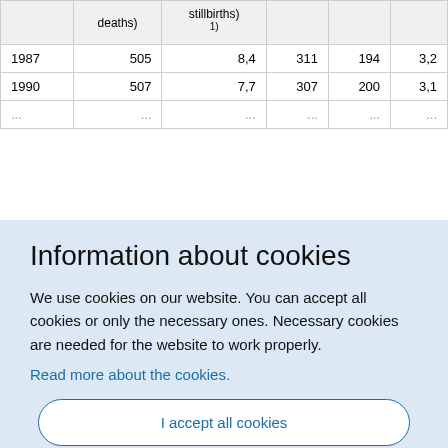|  | deaths) | stillbirths) 1) |  |  |  |
| --- | --- | --- | --- | --- | --- |
| 1987 | 505 | 8,4 | 311 | 194 | 3,2 |
| 1990 | 507 | 7,7 | 307 | 200 | 3,1 |
| ... | ... | ... | ... | ... | ... |
Information about cookies
We use cookies on our website. You can accept all cookies or only the necessary ones. Necessary cookies are needed for the website to work properly.
Read more about the cookies.
I accept all cookies
I only accept necessary cookies